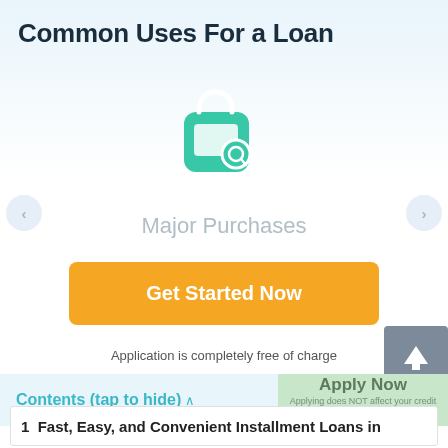Common Uses For a Loan
[Figure (illustration): Teal/green shopping bag icon with a magnifying glass circle on it]
Major Purchases
Get Started Now
Application is completely free of charge
Contents (tap to hide)
Apply Now
Applying does NOT affect your credit score!
No credit check to apply.
1  Fast, Easy, and Convenient Installment Loans in